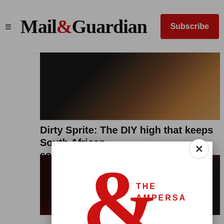Mail&Guardian | Subscribe
[Figure (photo): Close-up photo of a bullet or metallic object against dark background]
Dirty Sprite: The DIY high that keeps South African so
[Figure (photo): Dark red/maroon colored background photo]
T
[Figure (logo): The Ampersand - Mail & Guardian newsletter logo with large red ampersand symbol]
Stay informed. Every weekday.
E-mail Address
Signup now